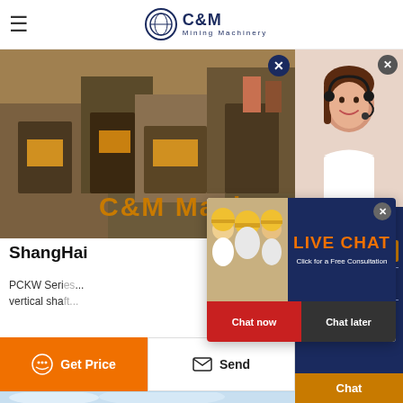C&M Mining Machinery
[Figure (photo): Mining machinery site banner with C&M Mach text overlay]
ShangHai
PCKW Series vertical shaft...
[Figure (photo): Live Chat popup with workers in hard hats, red Chat now button and dark Chat later button]
[Figure (photo): Right sidebar with customer service representative with headset, Quotation, Enquiry, drobilkalm@gmail.com, Chat buttons]